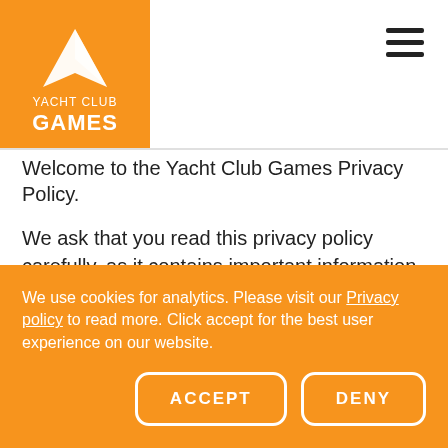[Figure (logo): Yacht Club Games logo — orange rectangle with white sail/wing icon, text 'YACHT CLUB GAMES']
Welcome to the Yacht Club Games Privacy Policy.
We ask that you read this privacy policy carefully, as it contains important information on who we are, how and why we collect, store, use, and share personal information, your rights in relation to your personal information and on how to contact us and supervisory authorities.
We use cookies for analytics. Please visit our Privacy policy to read more. Click accept for the best user experience on our website.